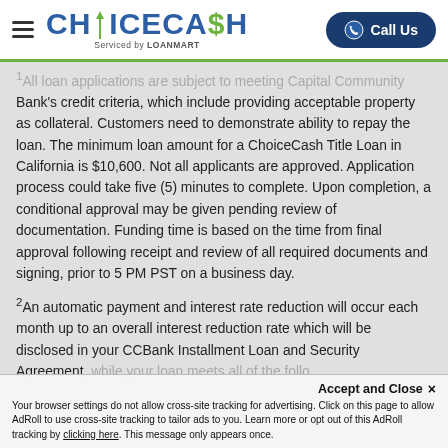ChoiceCash Serviced by LoanMart | Call Us
1 All loan applications are subject to meeting Capital Community Bank's credit criteria, which include providing acceptable property as collateral. Customers need to demonstrate ability to repay the loan. The minimum loan amount for a ChoiceCash Title Loan in California is $10,600. Not all applicants are approved. Application process could take five (5) minutes to complete. Upon completion, a conditional approval may be given pending review of documentation. Funding time is based on the time from final approval following receipt and review of all required documents and signing, prior to 5 PM PST on a business day.
2 An automatic payment and interest rate reduction will occur each month up to an overall interest reduction rate which will be disclosed in your CCBank Installment Loan and Security Agreement, while your loan meets all of the following minimum requirements to be eligible...
Accept and Close × Your browser settings do not allow cross-site tracking for advertising. Click on this page to allow AdRoll to use cross-site tracking to tailor ads to you. Learn more or opt out of this AdRoll tracking by clicking here. This message only appears once.